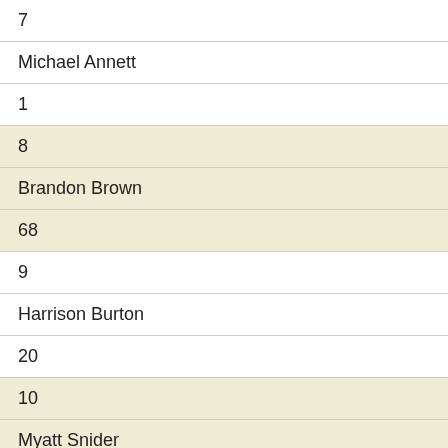| 7 |
| Michael Annett |
| 1 |
| 8 |
| Brandon Brown |
| 68 |
| 9 |
| Harrison Burton |
| 20 |
| 10 |
| Myatt Snider |
| 21 |